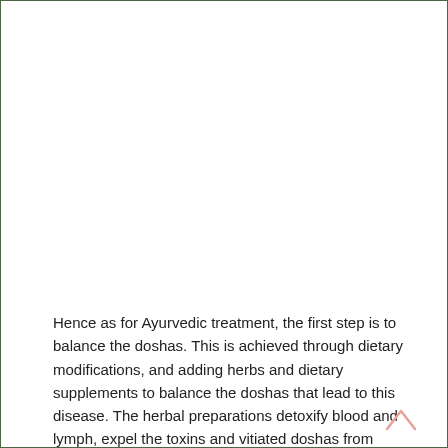Hence as for Ayurvedic treatment, the first step is to balance the doshas. This is achieved through dietary modifications, and adding herbs and dietary supplements to balance the doshas that lead to this disease. The herbal preparations detoxify blood and lymph, expel the toxins and vitiated doshas from lymph and blood, and hence the underlying tissues get rejuvenated. This reduces the